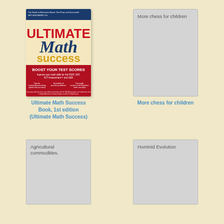[Figure (illustration): Book cover of Ultimate Math Success showing red, white and blue design with bold text ULTIMATE Math success and subtitle BOOST YOUR TEST SCORES]
Ultimate Math Success Book, 1st edition (Ultimate Math Success)
[Figure (illustration): Gray placeholder book cover with text More chess for children]
More chess for children
[Figure (illustration): Gray placeholder book cover with text Agricultural commodities.]
[Figure (illustration): Gray placeholder book cover with text Hominid Evolution]